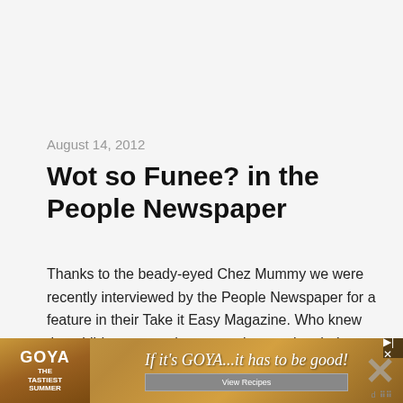August 14, 2012
Wot so Funee? in the People Newspaper
Thanks to the beady-eyed Chez Mummy we were recently interviewed by the People Newspaper for a feature in their Take it Easy Magazine. Who knew that children everywhere were impressing their parents with funees worthy of publication in a Sunday mag? Here’s our contribution: Children always know just the right thing to say, don’t you think? Now, if you have your own funny post
[Figure (screenshot): Goya advertisement banner with food images, slogan 'If it's GOYA...it has to be good!' and 'View Recipes' button, with close/X icons on the right]